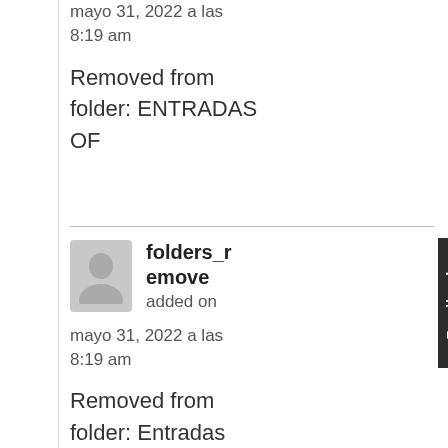mayo 31, 2022 a las 8:19 am
Removed from folder: ENTRADAS OF
folders_remove
added on mayo 31, 2022 a las 8:19 am
Removed from folder: Entradas 052